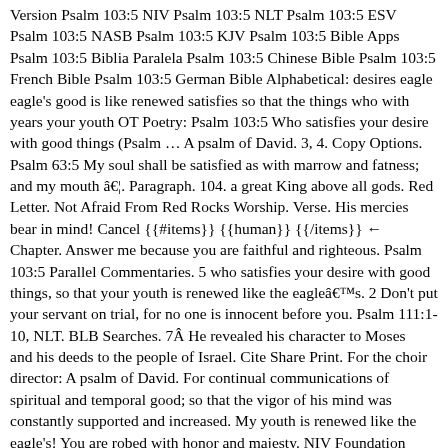Version Psalm 103:5 NIV Psalm 103:5 NLT Psalm 103:5 ESV Psalm 103:5 NASB Psalm 103:5 KJV Psalm 103:5 Bible Apps Psalm 103:5 Biblia Paralela Psalm 103:5 Chinese Bible Psalm 103:5 French Bible Psalm 103:5 German Bible Alphabetical: desires eagle eagle's good is like renewed satisfies so that the things who with years your youth OT Poetry: Psalm 103:5 Who satisfies your desire with good things (Psalm … A psalm of David. 3, 4. Copy Options. Psalm 63:5 My soul shall be satisfied as with marrow and fatness; and my mouth â€¦. Paragraph. 104. a great King above all gods. Red Letter. Not Afraid From Red Rocks Worship. Verse. His mercies bear in mind! Cancel {{#items}} {{human}} {{/items}} ← Chapter. Answer me because you are faithful and righteous. Psalm 103:5 Parallel Commentaries. 5 who satisfies your desire with good things, so that your youth is renewed like the eagleâ€™s. 2 Don't put your servant on trial, for no one is innocent before you. Psalm 111:1-10, NLT. BLB Searches. 7Â He revealed his character to Moses    and his deeds to the people of Israel. Cite Share Print. For the choir director: A psalm of David. For continual communications of spiritual and temporal good; so that the vigor of his mind was constantly supported and increased. My youth is renewed like the eagle's! You are robed with honor and majesty. NIV Foundation Study Bible, hardcover. He fills my life with good things. Live Healed. Psalm 105 - Give thanks to the LORD and proclaim his greatness. I will thank the Lord with all my heart. 3 He forgives all my sins. Read it out loud and enjoy it." Psalm 103 :: New Living Translation (NLT)